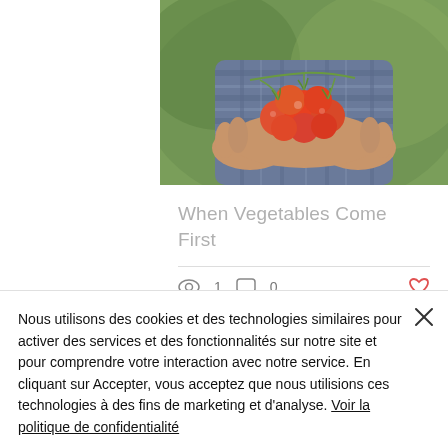[Figure (photo): Photo of a person in a plaid shirt holding a cluster of cherry tomatoes in both hands, with green foliage in the background.]
When Vegetables Come First
1 view  0 comments  heart/like button
Nous utilisons des cookies et des technologies similaires pour activer des services et des fonctionnalités sur notre site et pour comprendre votre interaction avec notre service. En cliquant sur Accepter, vous acceptez que nous utilisions ces technologies à des fins de marketing et d'analyse. Voir la politique de confidentialité
Paramètres des cookies
Accepter